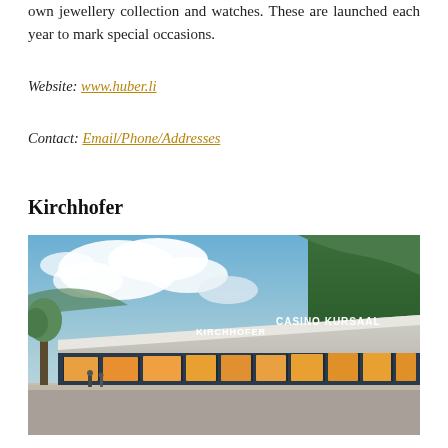own jewellery collection and watches. These are launched each year to mark special occasions.
Website: www.huber.li
Contact: Email/Phone/Addresses
Kirchhofer
[Figure (photo): Exterior photo of Kirchhofer jewellery store located in the Casino Kursaal building in Interlaken, Switzerland. The building has a distinctive angled roofline with 'KIRCHHOFER' and 'CASINO KURSAAL' signage. Multiple illuminated shop windows display jewellery items. Blue sky with clouds and green forested hills are visible in the background.]